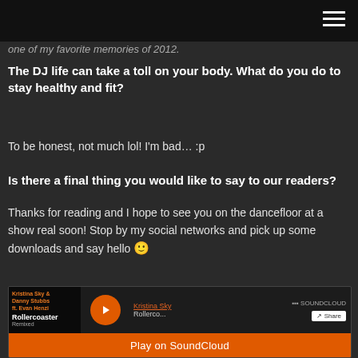one of my favorite memories of 2012.
The DJ life can take a toll on your body. What do you do to stay healthy and fit?
To be honest, not much lol! I'm bad… :p
Is there a final thing you would like to say to our readers?
Thanks for reading and I hope to see you on the dancefloor at a show real soon! Stop by my social networks and pick up some downloads and say hello 🙂
[Figure (screenshot): SoundCloud embedded player showing Kristina Sky & Danny Stubbs ft. Evan Henzi - Rollercoaster Remixed, with a Play on SoundCloud button at the bottom]